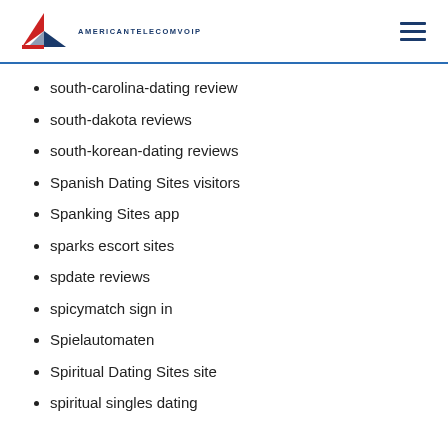AMERICANTELECOMVOIP
south-carolina-dating review
south-dakota reviews
south-korean-dating reviews
Spanish Dating Sites visitors
Spanking Sites app
sparks escort sites
spdate reviews
spicymatch sign in
Spielautomaten
Spiritual Dating Sites site
spiritual singles dating